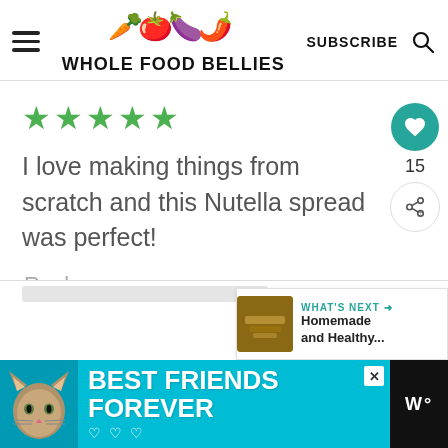WHOLE FOOD BELLIES — SUBSCRIBE
★★★★★
I love making things from scratch and this Nutella spread was perfect!
Reply
[Figure (infographic): Teal circular like button with heart icon, count of 15, and share button below]
[Figure (infographic): What's Next panel showing food image thumbnail and text 'Homemade and Healthy...']
[Figure (infographic): Bottom advertisement bar: teal background with cat illustration, text 'BEST FRIENDS FOREVER', hearts, close button, and dark right panel with W° logo]